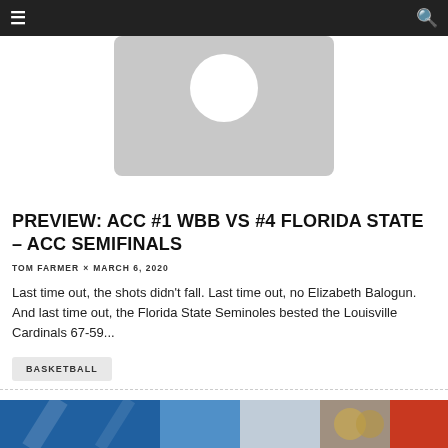Navigation bar with menu and search icons
[Figure (illustration): Placeholder avatar image with grey background and white circle silhouette]
PREVIEW: ACC #1 WBB VS #4 FLORIDA STATE – ACC SEMIFINALS
TOM FARMER × MARCH 6, 2020
Last time out, the shots didn't fall. Last time out, no Elizabeth Balogun. And last time out, the Florida State Seminoles bested the Louisville Cardinals 67-59...
BASKETBALL
[Figure (photo): Partial photo of a basketball game scene at the bottom of the page]